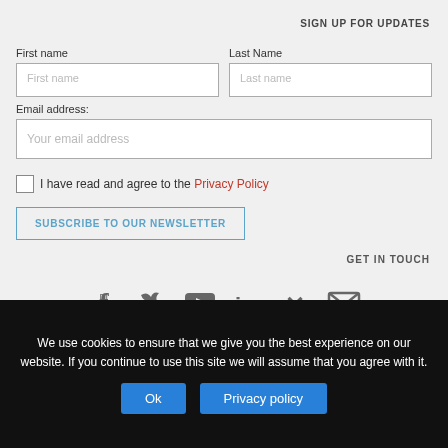SIGN UP FOR UPDATES
First name
Last Name
Email address:
I have read and agree to the Privacy Policy
SUBSCRIBE TO OUR NEWSLETTER
GET IN TOUCH
[Figure (infographic): Social media icons: Facebook, Twitter, YouTube, LinkedIn, Xing, Email]
We use cookies to ensure that we give you the best experience on our website. If you continue to use this site we will assume that you agree with it.
Ok   Privacy policy